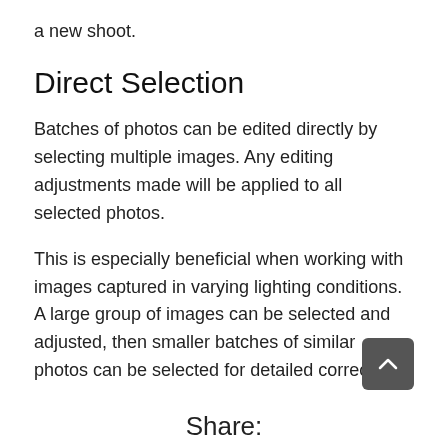a new shoot.
Direct Selection
Batches of photos can be edited directly by selecting multiple images. Any editing adjustments made will be applied to all selected photos.
This is especially beneficial when working with images captured in varying lighting conditions. A large group of images can be selected and adjusted, then smaller batches of similar photos can be selected for detailed corrections.
Share: